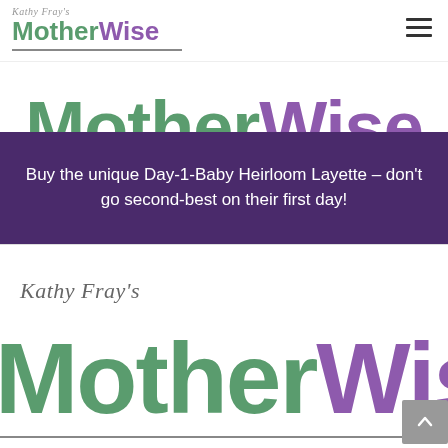[Figure (logo): Kathy Fray's MotherWise navigation logo with hamburger menu icon]
[Figure (logo): Large MotherWise logo with green Mother and purple Wise, horizontal underline, and partial DAY-1-BABY text below]
Buy the unique Day-1-Baby Heirloom Layette – don't go second-best on their first day!
[Figure (logo): Kathy Fray's MotherWise large logo in bottom section, green Mother and purple Wise, with scroll-to-top button]